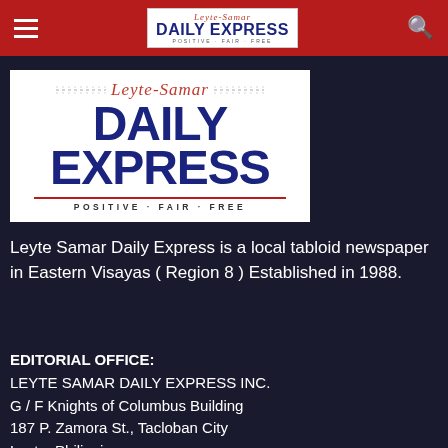Leyte-Samar Daily Express — navigation bar with hamburger menu, logo, and search icon
[Figure (logo): Leyte-Samar Daily Express logo with red italic script header, bold blue DAILY EXPRESS text, and tagline POSITIVE · FAIR · FREE]
Leyte Samar Daily Express is a local tabloid newspaper in Eastern Visayas ( Region 8 ) Established in 1988.
EDITORIAL OFFICE:
LEYTE SAMAR DAILY EXPRESS INC.
G / F Knights of Columbus Building
187 P. Zamora St., Tacloban City
Leyte, Philippines